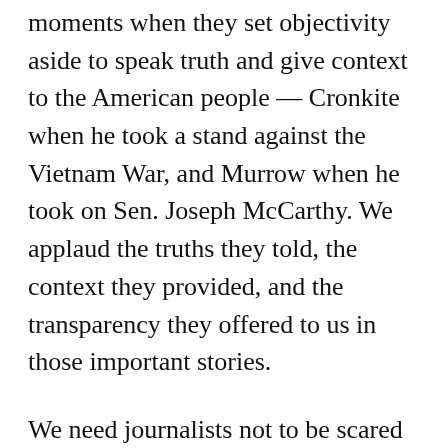moments when they set objectivity aside to speak truth and give context to the American people — Cronkite when he took a stand against the Vietnam War, and Murrow when he took on Sen. Joseph McCarthy. We applaud the truths they told, the context they provided, and the transparency they offered to us in those important stories.
We need journalists not to be scared to bring a bit of activism to their work, as Johnson, Cronkite, Murrow and others have done. Experiencing sexual harassment can lead a reporter to pursue stories that bring suspected